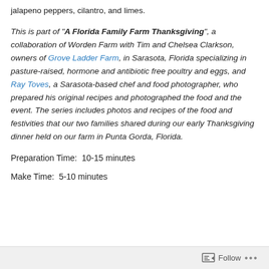jalapeno peppers, cilantro, and limes.
This is part of “A Florida Family Farm Thanksgiving”, a collaboration of Worden Farm with Tim and Chelsea Clarkson, owners of Grove Ladder Farm, in Sarasota, Florida specializing in pasture-raised, hormone and antibiotic free poultry and eggs, and Ray Toves, a Sarasota-based chef and food photographer, who prepared his original recipes and photographed the food and the event. The series includes photos and recipes of the food and festivities that our two families shared during our early Thanksgiving dinner held on our farm in Punta Gorda, Florida.
Preparation Time:  10-15 minutes
Make Time:  5-10 minutes
Follow